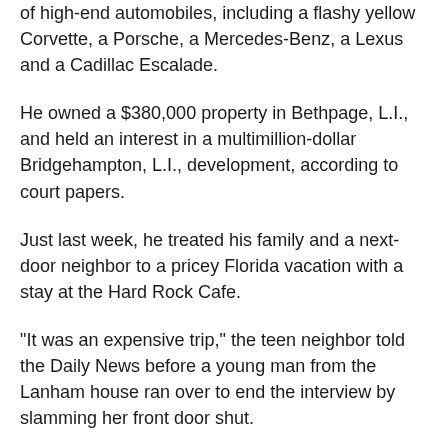of high-end automobiles, including a flashy yellow Corvette, a Porsche, a Mercedes-Benz, a Lexus and a Cadillac Escalade.
He owned a $380,000 property in Bethpage, L.I., and held an interest in a multimillion-dollar Bridgehampton, L.I., development, according to court papers.
Just last week, he treated his family and a next-door neighbor to a pricey Florida vacation with a stay at the Hard Rock Cafe.
"It was an expensive trip," the teen neighbor told the Daily News before a young man from the Lanham house ran over to end the interview by slamming her front door shut.
The probe, aided by the city Department of Investigation, found Lanham was hired to work on three major DOE projects - including the highly touted "Project Connect."